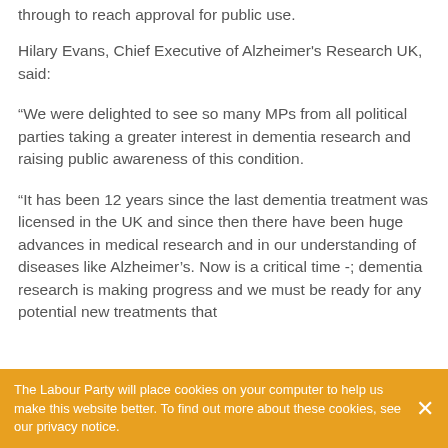through to reach approval for public use.
Hilary Evans, Chief Executive of Alzheimer's Research UK, said:
“We were delighted to see so many MPs from all political parties taking a greater interest in dementia research and raising public awareness of this condition.
“It has been 12 years since the last dementia treatment was licensed in the UK and since then there have been huge advances in medical research and in our understanding of diseases like Alzheimer’s. Now is a critical time -; dementia research is making progress and we must be ready for any potential new treatments that
The Labour Party will place cookies on your computer to help us make this website better. To find out more about these cookies, see our privacy notice.